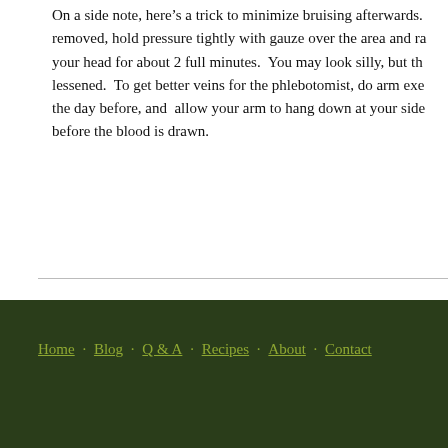On a side note, here’s a trick to minimize bruising afterwards. Once the needle is removed, hold pressure tightly with gauze over the area and raise your arm above your head for about 2 full minutes. You may look silly, but the bruising will be lessened. To get better veins for the phlebotomist, do arm exercises at the gym the day before, and allow your arm to hang down at your side for a few minutes before the blood is drawn.
« How do I keep food portions under control?   How can you coach y…
Home · Blog · Q & A · Recipes · About · Contact